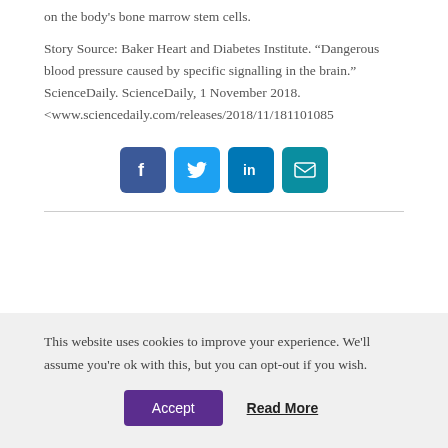on the body's bone marrow stem cells.
Story Source: Baker Heart and Diabetes Institute. “Dangerous blood pressure caused by specific signalling in the brain.” ScienceDaily. ScienceDaily, 1 November 2018. <www.sciencedaily.com/releases/2018/11/18110108$1
[Figure (infographic): Social media sharing icons: Facebook (blue), Twitter (light blue), LinkedIn (dark blue), Email (teal)]
This website uses cookies to improve your experience. We'll assume you're ok with this, but you can opt-out if you wish.